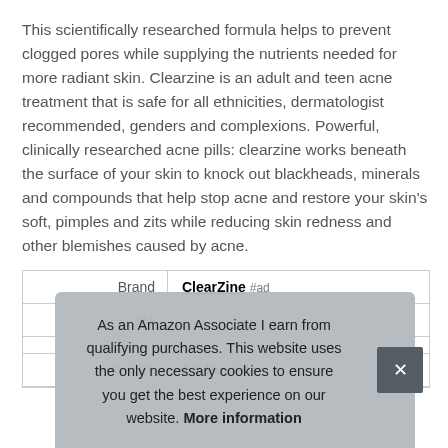This scientifically researched formula helps to prevent clogged pores while supplying the nutrients needed for more radiant skin. Clearzine is an adult and teen acne treatment that is safe for all ethnicities, dermatologist recommended, genders and complexions. Powerful, clinically researched acne pills: clearzine works beneath the surface of your skin to knock out blackheads, minerals and compounds that help stop acne and restore your skin's soft, pimples and zits while reducing skin redness and other blemishes caused by acne.
|  |  |
| --- | --- |
| Brand | ClearZine #ad |
| Ma |  |
|  |  |
| Weight | 0.5 Pounds |
As an Amazon Associate I earn from qualifying purchases. This website uses the only necessary cookies to ensure you get the best experience on our website. More information